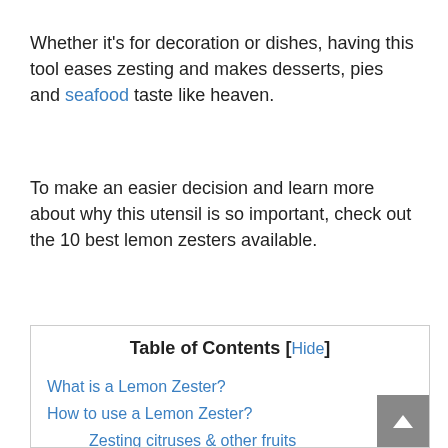Whether it's for decoration or dishes, having this tool eases zesting and makes desserts, pies and seafood taste like heaven.
To make an easier decision and learn more about why this utensil is so important, check out the 10 best lemon zesters available.
| Table of Contents [Hide] |
| What is a Lemon Zester? |
| How to use a Lemon Zester? |
| Zesting citruses & other fruits |
| Zesting chocolate or hard cheese |
| Which Factors to Consider First? |
| Is it quality? |